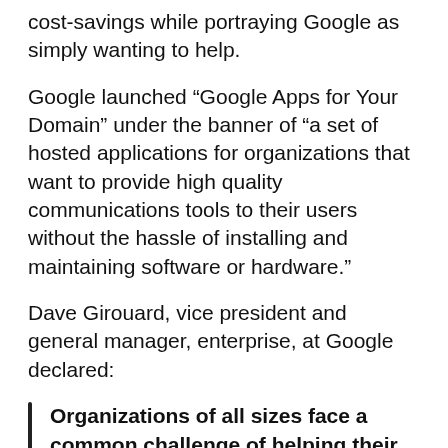cost-savings while portraying Google as simply wanting to help.
Google launched “Google Apps for Your Domain” under the banner of “a set of hosted applications for organizations that want to provide high quality communications tools to their users without the hassle of installing and maintaining software or hardware.”
Dave Girouard, vice president and general manager, enterprise, at Google declared:
Organizations of all sizes face a common challenge of helping their users communicate and share information more effectively. A hosted service like Google